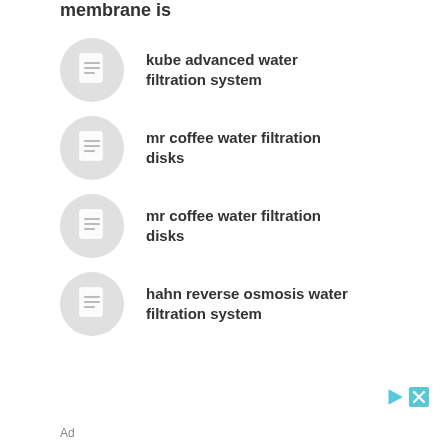membrane is
kube advanced water filtration system
mr coffee water filtration disks
mr coffee water filtration disks
hahn reverse osmosis water filtration system
Ad